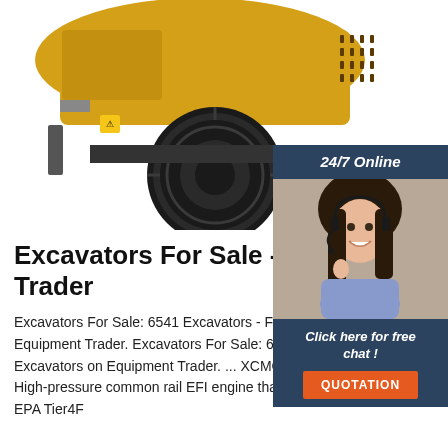[Figure (photo): A yellow road roller / compactor machine photographed from the front-side angle, showing large drum roller wheel and black tires on white background.]
[Figure (photo): 24/7 Online chat widget showing a smiling woman with headset, dark background with text 'Click here for free chat!' and an orange 'QUOTATION' button.]
Excavators For Sale - Equipment Trader
Excavators For Sale: 6541 Excavators - Find Excavators on Equipment Trader. Excavators For Sale: 6541 Excavators - Find Excavators on Equipment Trader. ... XCMG Excavator XE360U. 1. High-pressure common rail EFI engine that meets North American EPA Tier4F